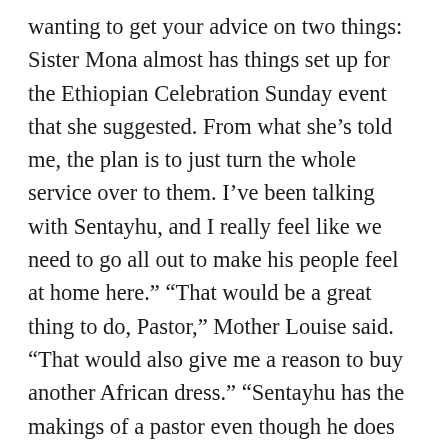wanting to get your advice on two things: Sister Mona almost has things set up for the Ethiopian Celebration Sunday event that she suggested. From what she’s told me, the plan is to just turn the whole service over to them. I’ve been talking with Sentayhu, and I really feel like we need to go all out to make his people feel at home here.” “That would be a great thing to do, Pastor,” Mother Louise said. “That would also give me a reason to buy another African dress.” “Sentayhu has the makings of a pastor even though he does not think so. I just see it in him,” Pastor Gillespie said. “If you want to help, you can talk more with Sister Mona and Ayana. I